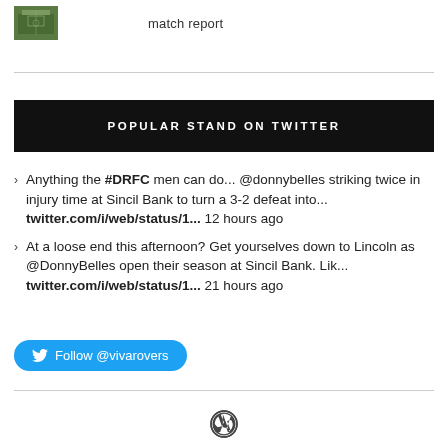[Figure (photo): Small thumbnail image of a football ground/stadium]
match report
POPULAR STAND ON TWITTER
Anything the #DRFC men can do... @donnybelles striking twice in injury time at Sincil Bank to turn a 3-2 defeat into... twitter.com/i/web/status/1... 12 hours ago
At a loose end this afternoon? Get yourselves down to Lincoln as @DonnyBelles open their season at Sincil Bank. Lik... twitter.com/i/web/status/1... 21 hours ago
Follow @vivarovers
[Figure (logo): WordPress logo icon]